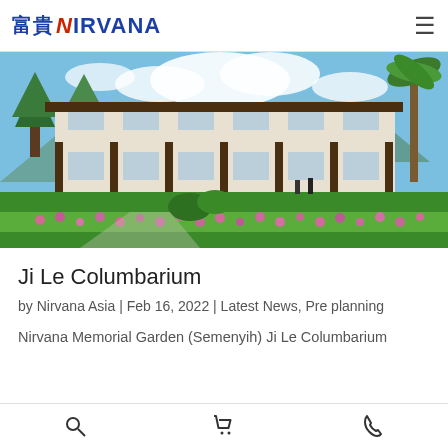富貴 NIRVANA
[Figure (photo): Architectural rendering of Ji Le Columbarium building at Nirvana Memorial Garden (Semenyih), a two-storey Japanese-style structure with large windows and wooden frames, surrounded by lush green lawn and pink flowering plants, with palm trees and mountains in the background.]
Ji Le Columbarium
by Nirvana Asia | Feb 16, 2022 | Latest News, Pre planning
Nirvana Memorial Garden (Semenyih) Ji Le Columbarium
Search | Cart | Phone